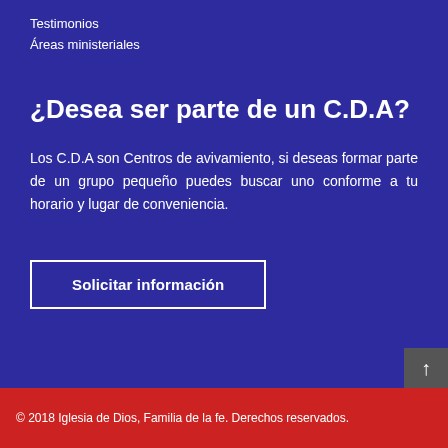Testimonios
Áreas ministeriales
¿Desea ser parte de un C.D.A?
Los C.D.A son Centros de avivamiento, si deseas formar parte de un grupo pequeño puedes buscar uno conforme a tu horario y lugar de conveniencia.
Solicitar información
© 2018 Iglesia de Dios, Familia de la fe. Derechos reservados.